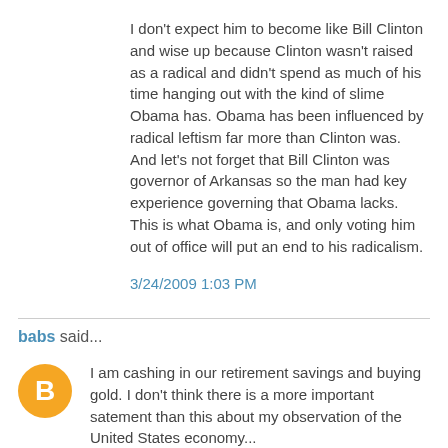I don't expect him to become like Bill Clinton and wise up because Clinton wasn't raised as a radical and didn't spend as much of his time hanging out with the kind of slime Obama has. Obama has been influenced by radical leftism far more than Clinton was. And let's not forget that Bill Clinton was governor of Arkansas so the man had key experience governing that Obama lacks. This is what Obama is, and only voting him out of office will put an end to his radicalism.
3/24/2009 1:03 PM
babs said...
[Figure (illustration): Orange circular Blogger avatar icon with white 'B' letter in center]
I am cashing in our retirement savings and buying gold. I don't think there is a more important satement than this about my observation of the United States economy...
We cannot possibly out compete the Chinese and the Indians in work force or incentive. I don't really care that we have "the most productive work force". It doesn't